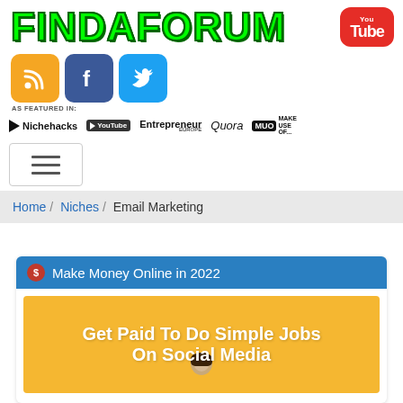[Figure (logo): FindAForum logo in green block letters with dark green outline, YouTube button in red on the right]
[Figure (infographic): Social media icons row: RSS (orange), Facebook (blue), Twitter (light blue)]
AS FEATURED IN
[Figure (infographic): Featured in bar with logos: Nichehacks, YouTube, Entrepreneur EUROPE, Quora, Make Use Of (MUO)]
[Figure (infographic): Hamburger menu button with three horizontal lines]
Home / Niches / Email Marketing
Make Money Online in 2022
[Figure (illustration): Yellow promotional banner reading 'Get Paid To Do Simple Jobs On Social Media' with a person's head visible at the bottom]